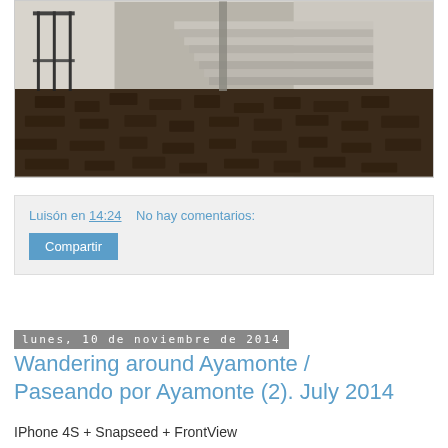[Figure (photo): Photograph of a cobblestone passageway with white walls, iron railings on the left, and stone stairs in the background. The ground is dark brown cobblestones.]
Luisón en 14:24    No hay comentarios:
Compartir
lunes, 10 de noviembre de 2014
Wandering around Ayamonte / Paseando por Ayamonte (2). July 2014
IPhone 4S + Snapseed + FrontView